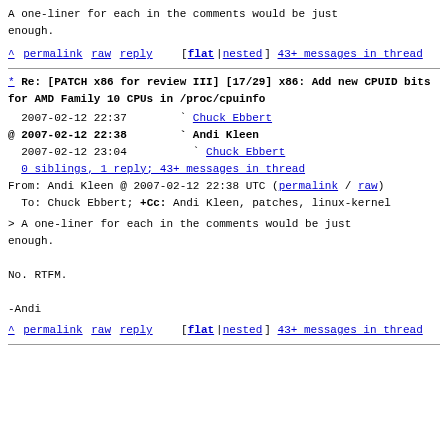A one-liner for each in the comments would be just enough.
^ permalink raw reply   [flat|nested] 43+ messages in thread
* Re: [PATCH x86 for review III] [17/29] x86: Add new CPUID bits for AMD Family 10 CPUs in /proc/cpuinfo
2007-02-12 22:37        ` Chuck Ebbert
@ 2007-02-12 22:38        ` Andi Kleen
  2007-02-12 23:04          ` Chuck Ebbert
  0 siblings, 1 reply; 43+ messages in thread
From: Andi Kleen @ 2007-02-12 22:38 UTC (permalink / raw)
  To: Chuck Ebbert; +Cc: Andi Kleen, patches, linux-kernel
> A one-liner for each in the comments would be just enough.

No. RTFM.

-Andi
^ permalink raw reply   [flat|nested] 43+ messages in thread